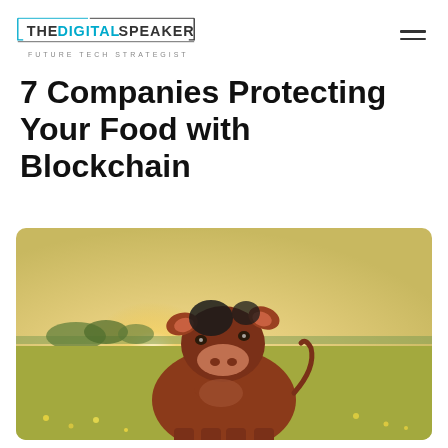THE DIGITAL SPEAKER — FUTURE TECH STRATEGIST
7 Companies Protecting Your Food with Blockchain
[Figure (photo): A brown cow standing in a green field with sunlight in the background and dandelions in the foreground, looking directly at the camera.]